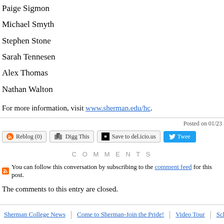Paige Sigmon
Michael Smyth
Stephen Stone
Sarah Tennesen
Alex Thomas
Nathan Walton
For more information, visit www.sherman.edu/hc.
Posted on 01/23
Reblog (0)   Digg This   Save to del.icio.us   Tweet
COMMENTS
You can follow this conversation by subscribing to the comment feed for this post.
The comments to this entry are closed.
Sherman College News | Come to Sherman-Join the Pride! | Video Tour | Sche